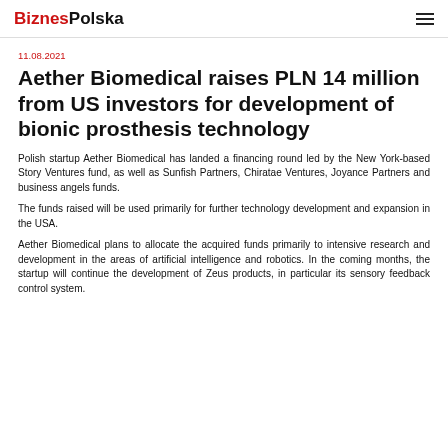BiznesPolska
11.08.2021
Aether Biomedical raises PLN 14 million from US investors for development of bionic prosthesis technology
Polish startup Aether Biomedical has landed a financing round led by the New York-based Story Ventures fund, as well as Sunfish Partners, Chiratae Ventures, Joyance Partners and business angels funds.
The funds raised will be used primarily for further technology development and expansion in the USA.
Aether Biomedical plans to allocate the acquired funds primarily to intensive research and development in the areas of artificial intelligence and robotics. In the coming months, the startup will continue the development of Zeus products, in particular its sensory feedback control system.